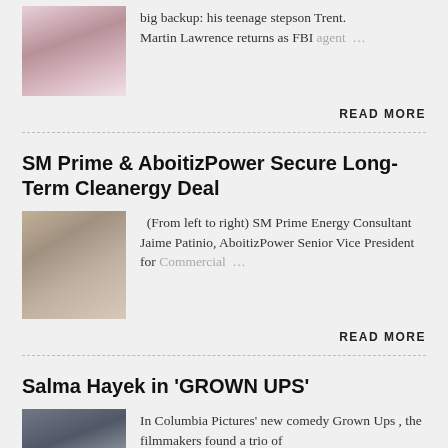[Figure (photo): Person with child, yoga or dance activity scene]
big backup: his teenage stepson Trent. Martin Lawrence returns as FBI agent …
READ MORE
SM Prime & AboitizPower Secure Long-Term Cleanergy Deal
[Figure (photo): Group of people standing together, business event]
(From left to right) SM Prime Energy Consultant Jaime Patinio, AboitizPower Senior Vice President for Commercial …
READ MORE
Salma Hayek in 'GROWN UPS'
[Figure (photo): Portrait of a woman with dark hair]
In Columbia Pictures' new comedy Grown Ups , the filmmakers found a trio of